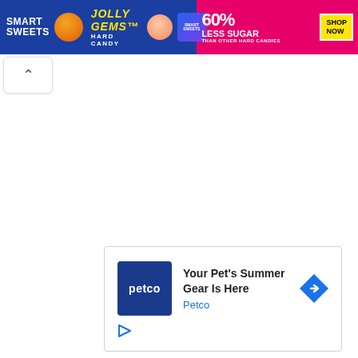[Figure (infographic): Smart Sweets Jolly Gems Hard Candy advertisement banner. Blue left section with Smart Sweets branding, orange candy circle, Jolly Gems Hard Candy text in yellow italic, peach candy circle, and small SmartSweets logo. Pink/magenta right section with '60% Less Sugar than other hard candies' text and yellow 'Shop Now' button.]
[Figure (other): White collapse/hide button with upward chevron (^) arrow, with rounded corners and light border, positioned below the top banner.]
[Figure (infographic): Petco advertisement card with white background and light border. Contains dark blue Petco logo square on left, headline 'Your Pet's Summer Gear Is Here', blue 'Petco' brand text, blue diamond-shaped arrow icon on right, and small triangular play icon at bottom left.]